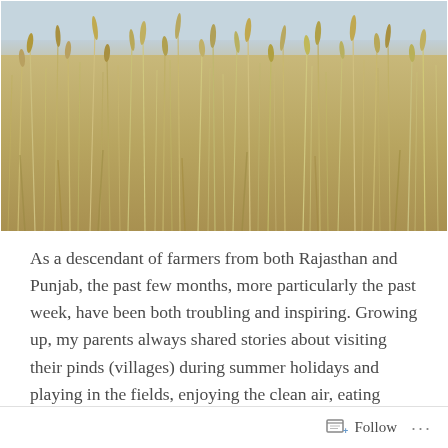[Figure (photo): Close-up photograph of golden wheat stalks in a field against a pale cloudy sky. The wheat is dry and golden-beige, with thin stems and seed heads visible.]
As a descendant of farmers from both Rajasthan and Punjab, the past few months, more particularly the past week, have been both troubling and inspiring. Growing up, my parents always shared stories about visiting their pinds (villages) during summer holidays and playing in the fields, enjoying the clean air, eating fresh fruit,
Follow ...